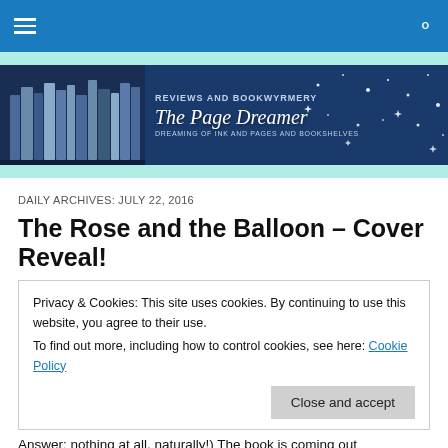Navigation bar with hamburger menu and search icon
[Figure (logo): The Page Dreamer blog banner — Reviews and Bookwyrmery, Dreaming of Ink and Pages and Bookshelves, dark blue background with bookshelf silhouette and stars]
DAILY ARCHIVES: JULY 22, 2016
The Rose and the Balloon – Cover Reveal!
Privacy & Cookies: This site uses cookies. By continuing to use this website, you agree to their use.
To find out more, including how to control cookies, see here: Cookie Policy
Answer: nothing at all, naturally!) The book is coming out